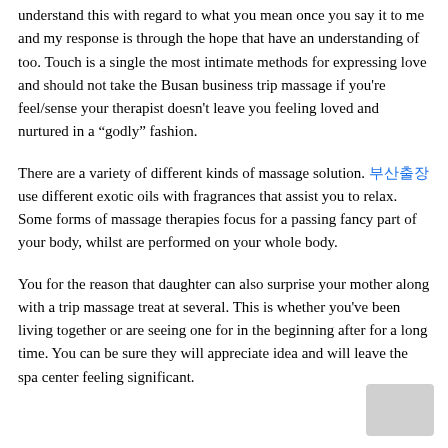understand this with regard to what you mean once you say it to me and my response is through the hope that have an understanding of too. Touch is a single the most intimate methods for expressing love and should not take the Busan business trip massage if you're feel/sense your therapist doesn't leave you feeling loved and nurtured in a “godly” fashion.
There are a variety of different kinds of massage solution. 부산출장 use different exotic oils with fragrances that assist you to relax. Some forms of massage therapies focus for a passing fancy part of your body, whilst are performed on your whole body.
You for the reason that daughter can also surprise your mother along with a trip massage treat at several. This is whether you've been living together or are seeing one for in the beginning after for a long time. You can be sure they will appreciate idea and will leave the spa center feeling significant.